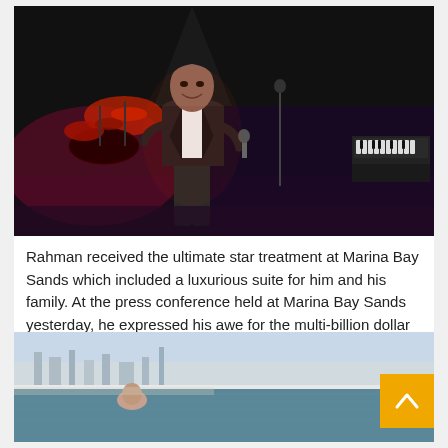[Figure (photo): A man in a dark blazer holding a microphone on a concert stage with drums and keyboards visible in the background, lit by stage lighting with red/purple hues]
Rahman received the ultimate star treatment at Marina Bay Sands which included a luxurious suite for him and his family. At the press conference held at Marina Bay Sands yesterday, he expressed his awe for the multi-billion dollar integrated resort.
[Figure (photo): A man in a black shirt sitting near an infinity pool with a cityscape visible in the background at Marina Bay Sands]